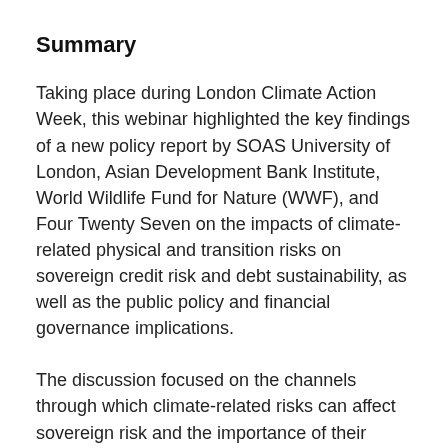Summary
Taking place during London Climate Action Week, this webinar highlighted the key findings of a new policy report by SOAS University of London, Asian Development Bank Institute, World Wildlife Fund for Nature (WWF), and Four Twenty Seven on the impacts of climate-related physical and transition risks on sovereign credit risk and debt sustainability, as well as the public policy and financial governance implications.
The discussion focused on the channels through which climate-related risks can affect sovereign risk and the importance of their respective impacts. It also examined the implications for the management of public finances, the challenges facing financial